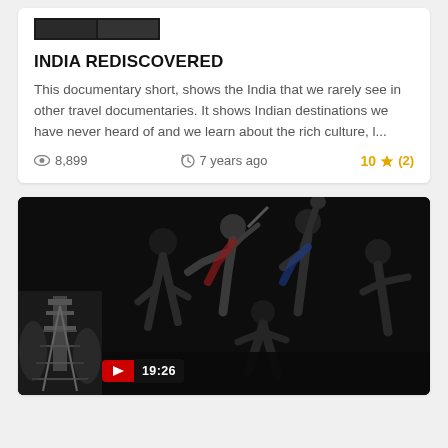[Figure (photo): Small dark thumbnail image at top of first card]
INDIA REDISCOVERED
This documentary short, shows the India that we rarely see in other travel documentaries. It shows Indian destinations we have never heard of and we learn about the rich culture, l...
8,899   7 years ago   10 ★ (2)
[Figure (photo): Video thumbnail showing athletes in action on dark background with a small black-and-white overlay thumbnail in lower left, YouTube play button and duration 19:26]